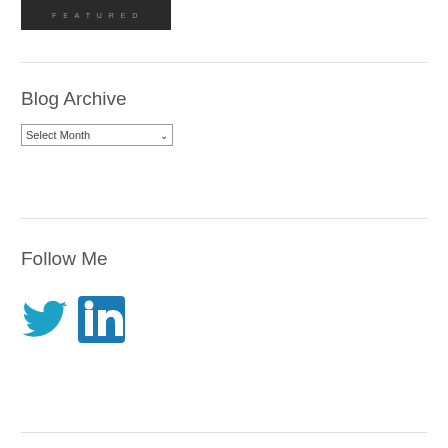[Figure (screenshot): Featured image thumbnail with dark background and 'FEATURED' text label]
Blog Archive
[Figure (screenshot): Select Month dropdown widget]
Follow Me
[Figure (logo): Twitter and LinkedIn social media icons in teal/blue color]